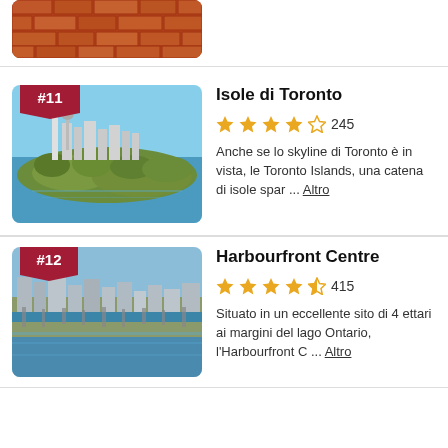[Figure (photo): Partial brick wall image cropped at top of page]
Isole di Toronto
245 reviews, 4 stars
Anche se lo skyline di Toronto è in vista, le Toronto Islands, una catena di isole spar ... Altro
[Figure (photo): Aerial view of Toronto Islands with city skyline in background]
Harbourfront Centre
415 reviews, 4.5 stars
Situato in un eccellente sito di 4 ettari ai margini del lago Ontario, l'Harbourfront C ... Altro
[Figure (photo): Aerial view of Harbourfront Centre with marina and Lake Ontario]